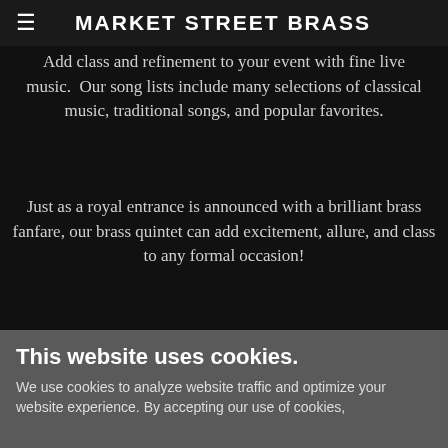Formal Events and Weddings
MARKET STREET BRASS
Add class and refinement to your event with fine live music.  Our song lists include many selections of classical music, traditional songs, and popular favorites.
Just as a royal entrance is announced with a brilliant brass fanfare, our brass quintet can add excitement, allure, and class to any formal occasion!
[Figure (photo): Close-up photo of brass instruments with warm brown and orange tones]
This website uses cookies.
We use cookies to analyze website traffic and optimize your website experience. By accepting our use of cookies,